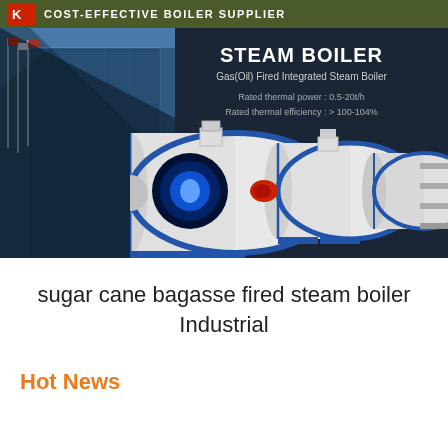COST-EFFECTIVE BOILER SUPPLIER
[Figure (photo): Banner image showing industrial steam boilers on a dark background with a building on the left. Text overlay reads: STEAM BOILER, Gas(Oil) Fired Integrated Steam Boiler, Rated thermal power: 0.5-20t/h, Rated thermal efficiency: >100-104%]
sugar cane bagasse fired steam boiler Industrial
Hot News